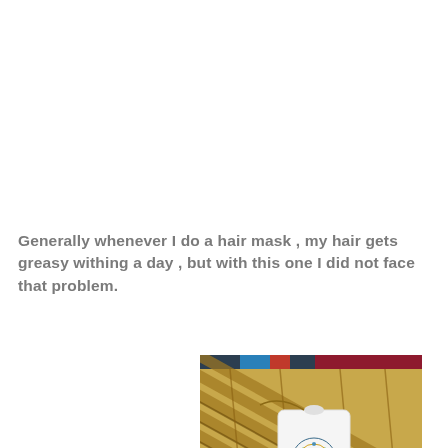Generally whenever I do a hair mask , my hair gets greasy withing a day , but with this one I did not face that problem.
[Figure (photo): Photo of an Argan Dew Replenishing Hair Mask packet placed on bamboo sticks/reeds, with a decorative patterned border visible at the top of the image.]